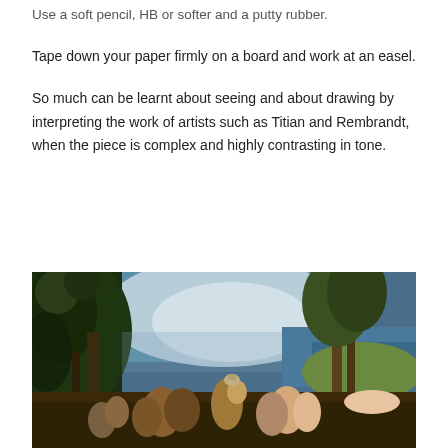Use a soft pencil, HB or softer and a putty rubber.
Tape down your paper firmly on a board and work at an easel.
So much can be learnt about seeing and about drawing by interpreting the work of artists such as Titian and Rembrandt, when the piece is complex and highly contrasting in tone.
[Figure (photo): A Renaissance painting by Titian showing a bacchanal scene with figures in a lush landscape. Dark trees frame the composition, with a bright cloudy sky in the background and figures engaged in revelry in the foreground.]